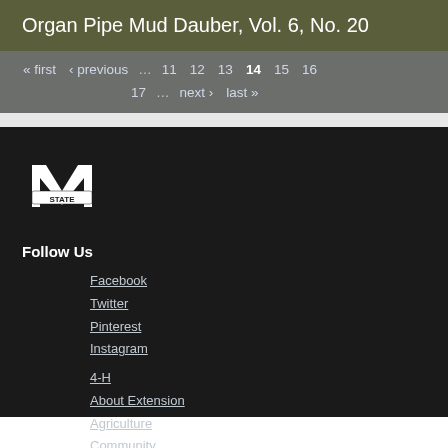Organ Pipe Mud Dauber, Vol. 6, No. 20
« first ‹ previous … 11 12 13 14 15 16 17 … next › last »
[Figure (logo): Mississippi State University M-STATE logo, white on dark background]
Follow Us
Facebook
Twitter
Pinterest
Instagram
4-H
About Extension
Agriculture
Community
Family
Food and Health
Insects